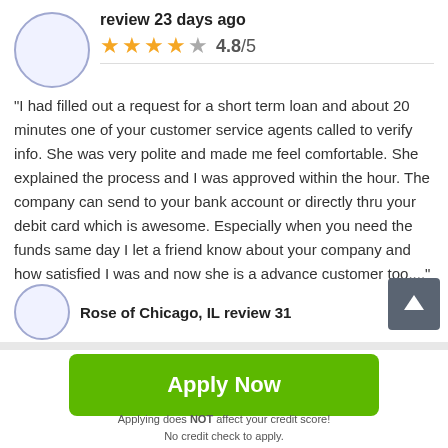review 23 days ago
[Figure (other): Star rating display showing 4 filled gold stars and 1 empty gray star with rating 4.8/5]
"I had filled out a request for a short term loan and about 20 minutes one of your customer service agents called to verify info. She was very polite and made me feel comfortable. She explained the process and I was approved within the hour. The company can send to your bank account or directly thru your debit card which is awesome. Especially when you need the funds same day I let a friend know about your company and how satisfied I was and now she is a advance customer too...."
Rose of Chicago, IL review 31
Apply Now
Applying does NOT affect your credit score!
No credit check to apply.